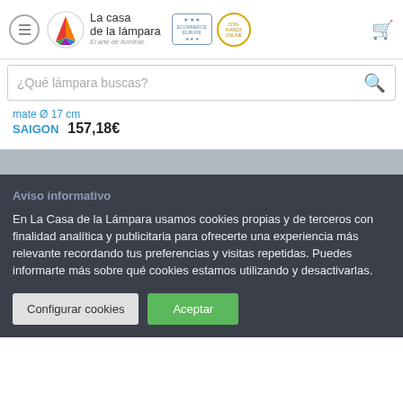La casa de la lámpara — El arte de iluminar
¿Qué lámpara buscas?
mate Ø 17 cm
SAIGON  157,18€
Aviso informativo
En La Casa de la Lámpara usamos cookies propias y de terceros con finalidad analítica y publicitaria para ofrecerte una experiencia más relevante recordando tus preferencias y visitas repetidas. Puedes informarte más sobre qué cookies estamos utilizando y desactivarlas.
Configurar cookies
Aceptar